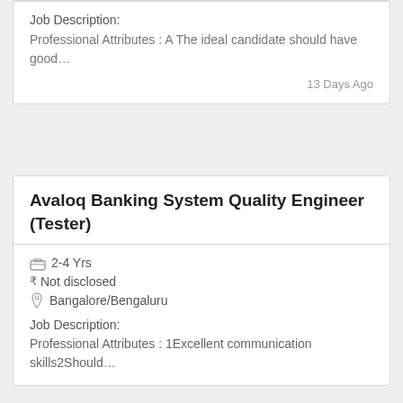Job Description:
Professional Attributes : A The ideal candidate should have good…
13 Days Ago
Avaloq Banking System Quality Engineer (Tester)
2-4 Yrs
Not disclosed
Bangalore/Bengaluru
Job Description:
Professional Attributes : 1Excellent communication skills2Should…